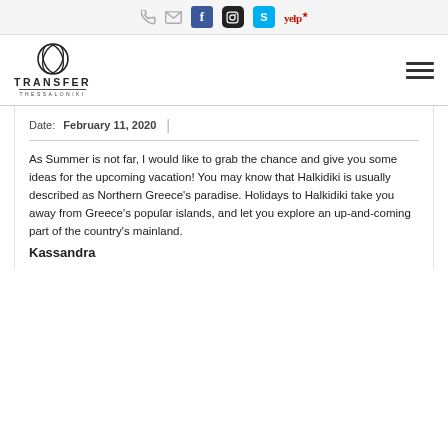Phone | Email | Facebook | Instagram | Skype | Yelp
[Figure (logo): Transfer Thessaloniki logo with stylized circular icon and hamburger menu icon on the right]
Date: February 11, 2020
As Summer is not far, I would like to grab the chance and give you some ideas for the upcoming vacation! You may know that Halkidiki is usually described as Northern Greece's paradise. Holidays to Halkidiki take you away from Greece's popular islands, and let you explore an up-and-coming part of the country's mainland.
Kassandra